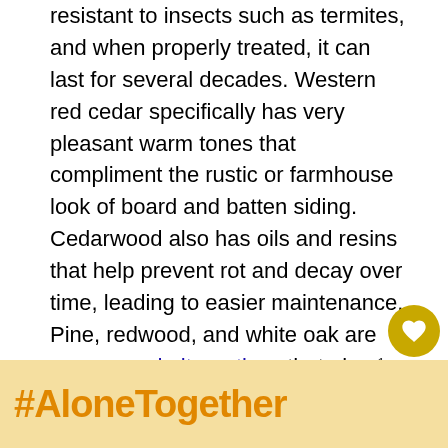resistant to insects such as termites, and when properly treated, it can last for several decades. Western red cedar specifically has very pleasant warm tones that compliment the rustic or farmhouse look of board and batten siding. Cedarwood also has oils and resins that help prevent rot and decay over time, leading to easier maintenance. Pine, redwood, and white oak are some wood alternatives that also make good board and batten siding. You can read more about the use of pine wood as a siding material in our arti... "Is Pine Good For Exterior Siding?".
[Figure (screenshot): Website UI overlay showing a gold heart/save button, share button with count '1', and a 'What's Next' panel showing 'How Wide Are Battens On...' with a small building thumbnail image.]
[Figure (photo): Advertisement banner with black background. Left portion has a tan/yellow background with '#AloneTogether' in large orange bold text, a close X button, and a photo of a woman. Right side has a dark logo area with white dots.]